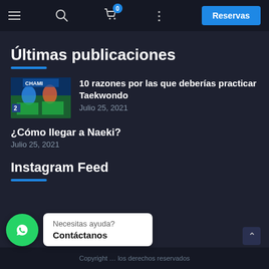Navigation bar with hamburger menu, search, cart (0), options, and Reservas button
Últimas publicaciones
[Figure (photo): Taekwondo competition thumbnail showing fighters, with CHAMI text visible and number 2]
10 razones por las que deberías practicar Taekwondo
Julio 25, 2021
¿Cómo llegar a Naeki?
Julio 25, 2021
Instagram Feed
[Figure (infographic): WhatsApp chat bubble with green circle icon and tooltip saying Necesitas ayuda? / Contáctanos]
Copyright ... los derechos reservados